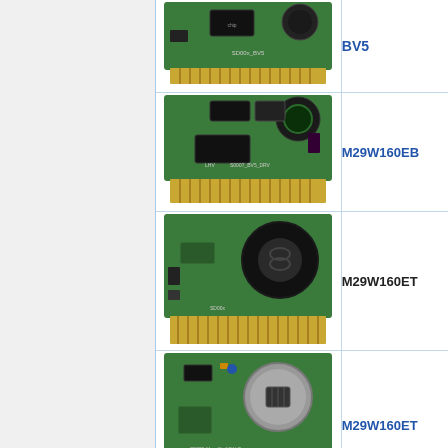[Figure (photo): Photo of a green PCB cartridge with chips and a round component labeled SD00x_BV5, product BV5]
BV5
[Figure (photo): Photo of a green PCB cartridge with multiple chips and components labeled S0007_BV5_DRV and LHV, product M29W160EB]
M29W160EB
[Figure (photo): Photo of a green PCB cartridge with a large black cylindrical inductor component, labeled SD00x, product M29W160ET]
M29W160ET
[Figure (photo): Photo of a green PCB cartridge with coin cell battery holder and chips labeled SD007_MegaKlv-64M-V2, product M29W160ET]
M29W160ET
[Figure (photo): Partial view of another PCB cartridge, row cut off at bottom of page]